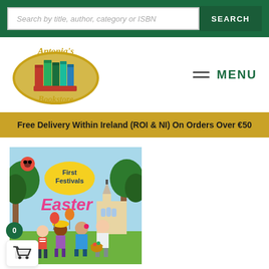Search by title, author, category or ISBN | SEARCH
[Figure (logo): Antonia's Bookstore logo — oval with colorful books, text reads 'Antonia's Bookstore']
MENU
Free Delivery Within Ireland (ROI & NI) On Orders Over €50
[Figure (photo): Book cover: 'First Festivals Easter' by Ladybird. Colorful illustration of children celebrating Easter outdoors with a church, balloons, and Easter basket.]